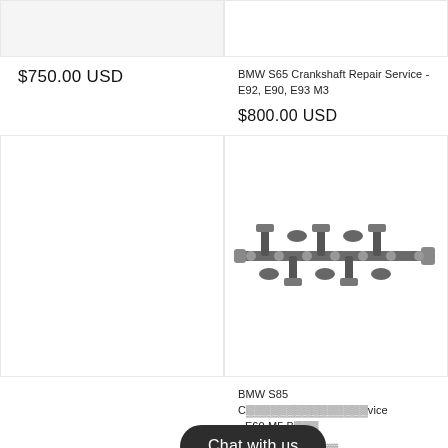[Figure (photo): Product image placeholder top left (gray background)]
[Figure (photo): Product image placeholder top right (white background)]
$750.00 USD
BMW S65 Crankshaft Repair Service - E92, E90, E93 M3
$800.00 USD
[Figure (photo): Product image placeholder bottom left (white background)]
[Figure (photo): Photo of a crankshaft component - metal engine crankshaft]
BMW S85 C ... vice - E60 M5 B...
$850.00 USD